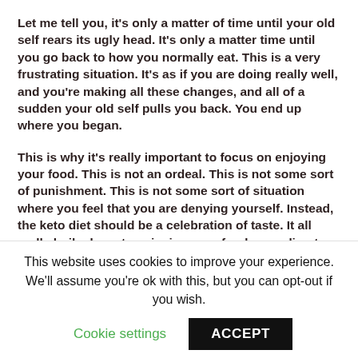Let me tell you, it's only a matter of time until your old self rears its ugly head. It's only a matter time until you go back to how you normally eat. This is a very frustrating situation. It's as if you are doing really well, and you're making all these changes, and all of a sudden your old self pulls you back. You end up where you began.
This is why it's really important to focus on enjoying your food. This is not an ordeal. This is not some sort of punishment. This is not some sort of situation where you feel that you are denying yourself. Instead, the keto diet should be a celebration of taste. It all really boils down to enjoying your food according to keto rules.
You have to find… (partially visible)
This website uses cookies to improve your experience. We'll assume you're ok with this, but you can opt-out if you wish.
Cookie settings
ACCEPT